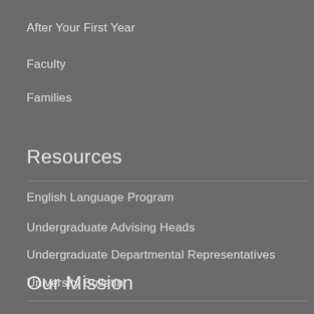After Your First Year
Faculty
Families
Resources
English Language Program
Undergraduate Advising Heads
Undergraduate Departmental Representatives
University Bulletin
Writing Center
Report an Incident
Support at Brandeis
Our Mission